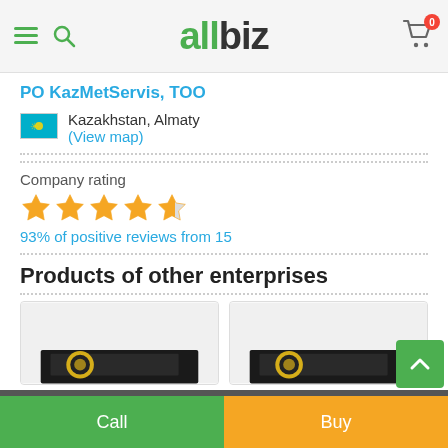allbiz
PO KazMetServis, TOO
Kazakhstan, Almaty
(View map)
Company rating
[Figure (other): 5 orange star rating icons (4 full stars and 1 half star)]
93% of positive reviews from 15
Products of other enterprises
[Figure (photo): Product card thumbnail image 1]
[Figure (photo): Product card thumbnail image 2]
Call | Buy